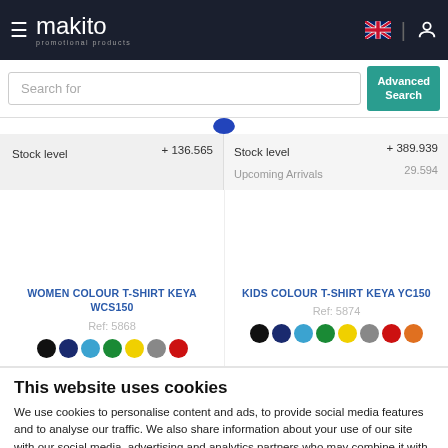[Figure (screenshot): Makito promotional products website navbar with hamburger menu, logo, UK flag, divider, and user icon]
[Figure (screenshot): Search bar with 'Search for' placeholder and 'Advanced Search' teal button]
| Stock level | + 136.565 |
| --- | --- |
| Stock level | + 389.939 |
| --- | --- |
| Upcoming Arrivals | 29.594 |
WOMEN COLOUR T-SHIRT KEYA WCS150
Ref: 5868
[Figure (illustration): Color swatches row: black, navy, light blue, green, yellow, grey, red]
KIDS COLOUR T-SHIRT KEYA YC150
Ref: 5874
[Figure (illustration): Color swatches row: black, navy, light blue, green, yellow, grey, red, orange]
This website uses cookies
We use cookies to personalise content and ads, to provide social media features and to analyse our traffic. We also share information about your use of our site with our social media, advertising and analytics partners who may combine it with other information that you've provided to them or that they've collected from your use of their services.
Deny   Allow selection   Allow all